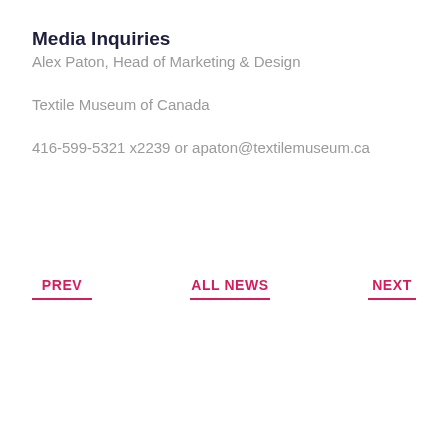Media Inquiries
Alex Paton, Head of Marketing & Design
Textile Museum of Canada
416-599-5321 x2239 or apaton@textilemuseum.ca
PREV
ALL NEWS
NEXT